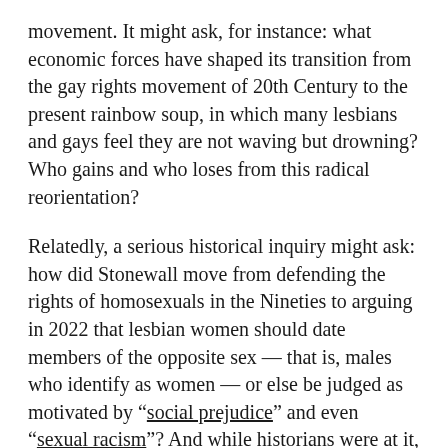movement. It might ask, for instance: what economic forces have shaped its transition from the gay rights movement of 20th Century to the present rainbow soup, in which many lesbians and gays feel they are not waving but drowning? Who gains and who loses from this radical reorientation?
Relatedly, a serious historical inquiry might ask: how did Stonewall move from defending the rights of homosexuals in the Nineties to arguing in 2022 that lesbian women should date members of the opposite sex — that is, males who identify as women — or else be judged as motivated by “social prejudice” and even “sexual racism”? And while historians were at it, they might also consider how our society has moved from the laudable aim of depathologising homosexuality, to a now fairly widespread acceptance of the chemical castration